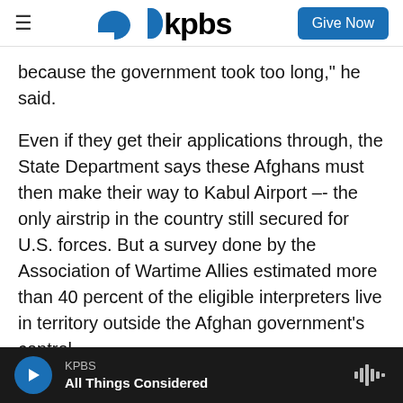kpbs | Give Now
because the government took too long," he said.
Even if they get their applications through, the State Department says these Afghans must then make their way to Kabul Airport –- the only airstrip in the country still secured for U.S. forces. But a survey done by the Association of Wartime Allies estimated more than 40 percent of the eligible interpreters live in territory outside the Afghan government's control.
"Why didn't we take these people when we still had the personnel and equipment in place to do that?
KPBS | All Things Considered